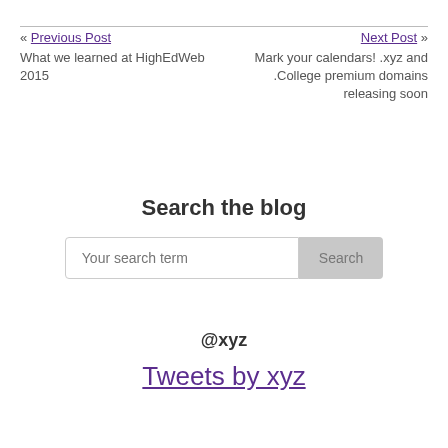« Previous Post
What we learned at HighEdWeb 2015
Next Post »
Mark your calendars! .xyz and .College premium domains releasing soon
Search the blog
Your search term [Search]
@xyz
Tweets by xyz